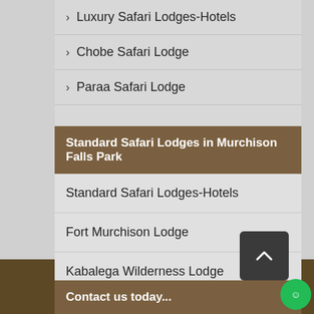> Luxury Safari Lodges-Hotels
> Chobe Safari Lodge
> Paraa Safari Lodge
Standard Safari Lodges in Murchison Falls Park
Standard Safari Lodges-Hotels
Fort Murchison Lodge
Kabalega Wilderness Lodge
> Murchison River Lodge
> Nile Safari Lodge
Contact us today...
Contact us today...
Contact us today...